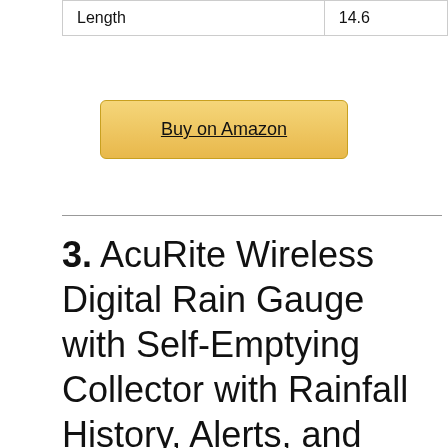| Length | 14.6 |
Buy on Amazon
3. AcuRite Wireless Digital Rain Gauge with Self-Emptying Collector with Rainfall History, Alerts, and Current Date and Time (00899), Multicolor